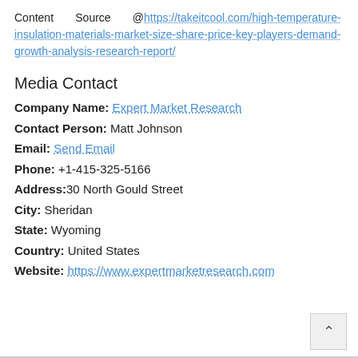Content  Source  @https://takeitcool.com/high-temperature-insulation-materials-market-size-share-price-key-players-demand-growth-analysis-research-report/
Media Contact
Company Name: Expert Market Research
Contact Person: Matt Johnson
Email: Send Email
Phone: +1-415-325-5166
Address:30 North Gould Street
City: Sheridan
State: Wyoming
Country: United States
Website: https://www.expertmarketresearch.com